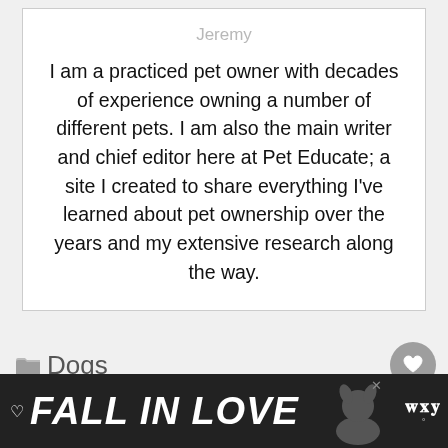Jeremy
I am a practiced pet owner with decades of experience owning a number of different pets. I am also the main writer and chief editor here at Pet Educate; a site I created to share everything I've learned about pet ownership over the years and my extensive research along the way.
Dogs
< What Is A Male Rabbit Called?
FALL IN LOVE